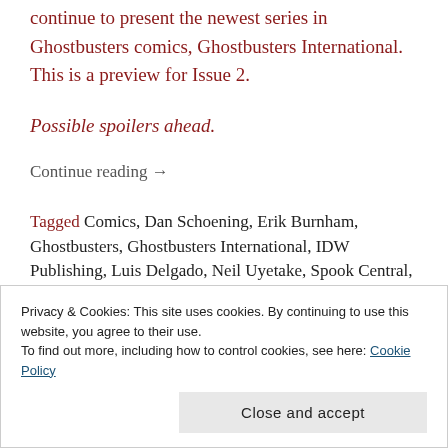continue to present the newest series in Ghostbusters comics, Ghostbusters International. This is a preview for Issue 2.
Possible spoilers ahead.
Continue reading →
Tagged Comics, Dan Schoening, Erik Burnham, Ghostbusters, Ghostbusters International, IDW Publishing, Luis Delgado, Neil Uyetake, Spook Central, Ted Adams, Tom Waltz     Leave a
Privacy & Cookies: This site uses cookies. By continuing to use this website, you agree to their use.
To find out more, including how to control cookies, see here: Cookie Policy
Close and accept